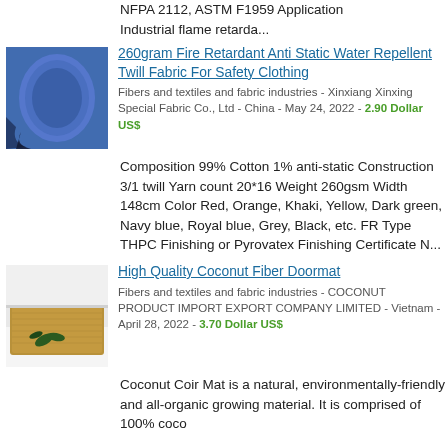NFPA 2112, ASTM F1959 Application Industrial flame retarda...
[Figure (photo): Blue rolled twill fabric]
260gram Fire Retardant Anti Static Water Repellent Twill Fabric For Safety Clothing
Fibers and textiles and fabric industries - Xinxiang Xinxing Special Fabric Co., Ltd - China - May 24, 2022 - 2.90 Dollar US$
Composition 99% Cotton 1% anti-static Construction 3/1 twill Yarn count 20*16 Weight 260gsm Width 148cm Color Red, Orange, Khaki, Yellow, Dark green, Navy blue, Royal blue, Grey, Black, etc. FR Type THPC Finishing or Pyrovatex Finishing Certificate N...
[Figure (photo): Coconut fiber doormat on floor]
High Quality Coconut Fiber Doormat
Fibers and textiles and fabric industries - COCONUT PRODUCT IMPORT EXPORT COMPANY LIMITED - Vietnam - April 28, 2022 - 3.70 Dollar US$
Coconut Coir Mat is a natural, environmentally-friendly and all-organic growing material. It is comprised of 100% coco fiber. The mat...